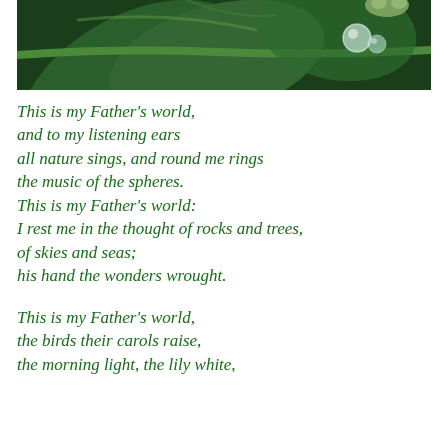[Figure (photo): Close-up photograph of green plant leaves with a water droplet on a stem, dark green background]
This is my Father's world,
and to my listening ears
all nature sings, and round me rings
the music of the spheres.
This is my Father's world:
I rest me in the thought of rocks and trees,
of skies and seas;
his hand the wonders wrought.

This is my Father's world,
the birds their carols raise,
the morning light, the lily white,